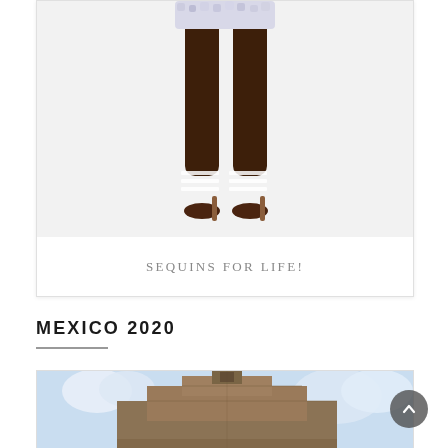[Figure (photo): Fashion photo showing legs of a dark-skinned model wearing sequin shorts and strapped heels, against a light gray background]
SEQUINS FOR LIFE!
MEXICO 2020
[Figure (photo): Partial photo of a Mexican pyramid/temple structure against a cloudy blue sky]